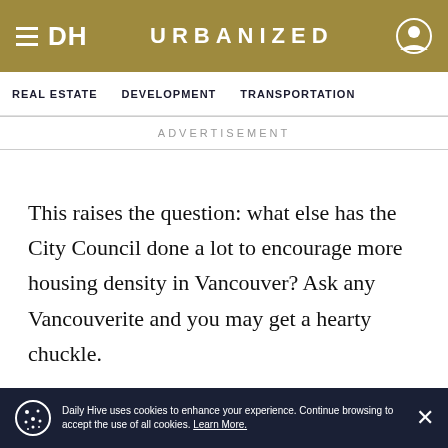DH URBANIZED
REAL ESTATE   DEVELOPMENT   TRANSPORTATION
ADVERTISEMENT
This raises the question: what else has the City Council done a lot to encourage more housing density in Vancouver? Ask any Vancouverite and you may get a hearty chuckle.
Ask anyone who has recently tried to do a simple
Daily Hive uses cookies to enhance your experience. Continue browsing to accept the use of all cookies. Learn More.